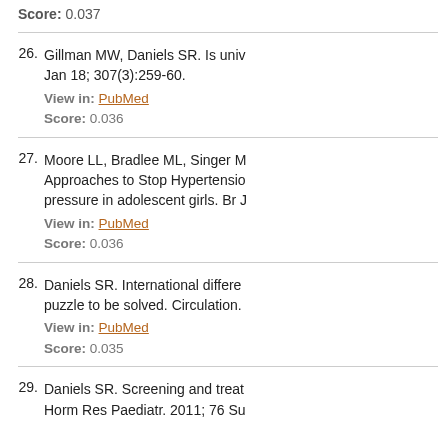Score: 0.037
26. Gillman MW, Daniels SR. Is univ... Jan 18; 307(3):259-60. View in: PubMed Score: 0.036
27. Moore LL, Bradlee ML, Singer M... Approaches to Stop Hypertensio... pressure in adolescent girls. Br J... View in: PubMed Score: 0.036
28. Daniels SR. International differen... puzzle to be solved. Circulation.... View in: PubMed Score: 0.035
29. Daniels SR. Screening and treat... Horm Res Paediatr. 2011; 76 Su...